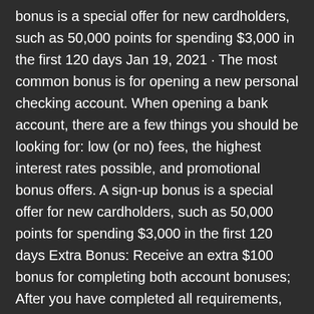bonus is a special offer for new cardholders, such as 50,000 points for spending $3,000 in the first 120 days Jan 19, 2021 · The most common bonus is for opening a new personal checking account. When opening a bank account, there are a few things you should be looking for: low (or no) fees, the highest interest rates possible, and promotional bonus offers. A sign-up bonus is a special offer for new cardholders, such as 50,000 points for spending $3,000 in the first 120 days Extra Bonus: Receive an extra $100 bonus for completing both account bonuses; After you have completed all requirements, Chase will deposit the bonus due within 10 business days. for 2021 Best Bank Account Bonuses & Promotion Offers - October 2021 Best High Yield Savings Accounts for October 2021 Best Banks of 2021 Let's stop the grind, together. BMO Harris Premier Account — $500. Find out which banks